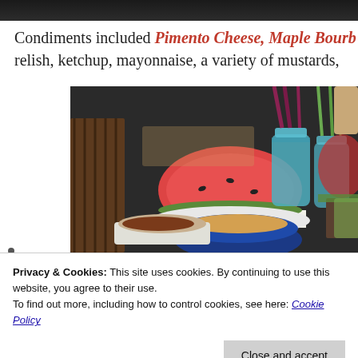[Figure (photo): Dark strip at top of page, partial image]
Condiments included Pimento Cheese, Maple Bourb... relish, ketchup, mayonnaise, a variety of mustards,
[Figure (photo): Food spread photo showing watermelon slices, blue mason jars with utensils, a blue bowl with what appears to be pimento cheese, hot dogs, and other condiments on a dark countertop.]
Privacy & Cookies: This site uses cookies. By continuing to use this website, you agree to their use.
To find out more, including how to control cookies, see here: Cookie Policy
Close and accept